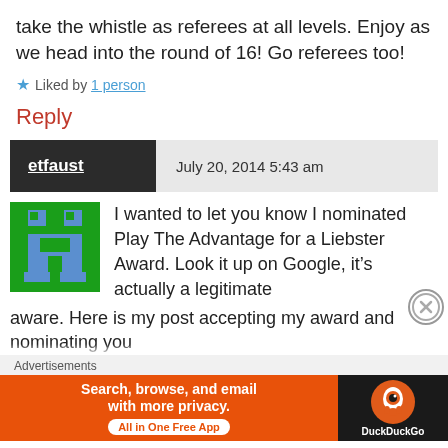take the whistle as referees at all levels. Enjoy as we head into the round of 16! Go referees too!
★ Liked by 1 person
Reply
etfaust   July 20, 2014  5:43 am
[Figure (illustration): Pixel art avatar showing a green and blue robot/character icon]
I wanted to let you know I nominated Play The Advantage for a Liebster Award. Look it up on Google, it's actually a legitimate aware. Here is my post accepting my award and nominating you
Advertisements
[Figure (infographic): DuckDuckGo advertisement banner: orange left panel with text 'Search, browse, and email with more privacy. All in One Free App', dark right panel with DuckDuckGo logo and name]